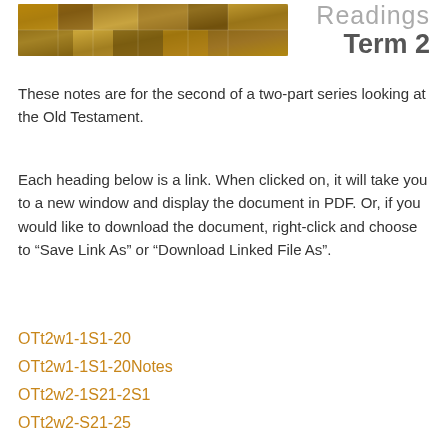[Figure (photo): A banner image with a textured golden/brown mosaic or stone pattern background.]
Readings Term 2
These notes are for the second of a two-part series looking at the Old Testament.
Each heading below is a link. When clicked on, it will take you to a new window and display the document in PDF. Or, if you would like to download the document, right-click and choose to “Save Link As” or “Download Linked File As”.
OTt2w1-1S1-20
OTt2w1-1S1-20Notes
OTt2w2-1S21-2S1
OTt2w2-S21-25
OTt2w3-2S1-12
OTt2w3-2S1-12DB